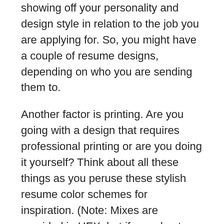showing off your personality and design style in relation to the job you are applying for. So, you might have a couple of resume designs, depending on who you are sending them to.
Another factor is printing. Are you going with a design that requires professional printing or are you doing it yourself? Think about all these things as you peruse these stylish resume color schemes for inspiration. (Note: Mixes are provided in HEX, but if you plan to print, make sure to use CMYK color.)
1. Bright Blue and Charcoal